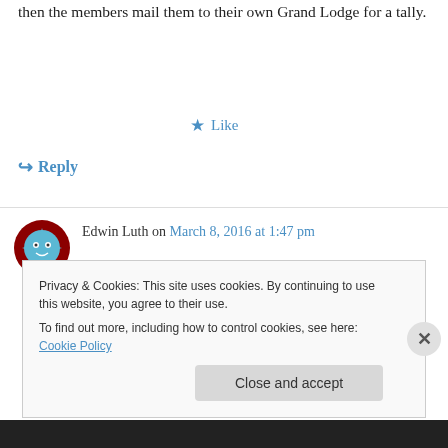then the members mail them to their own Grand Lodge for a tally.
★ Like
↪ Reply
[Figure (illustration): Avatar icon showing a blue star/snowflake character with a face, set against a dark red circular background]
Edwin Luth on March 8, 2016 at 1:47 pm
Will this truly be brought up at the next annual communication of the GLCA or will it be kicked down the road. ?
Privacy & Cookies: This site uses cookies. By continuing to use this website, you agree to their use.
To find out more, including how to control cookies, see here: Cookie Policy
Close and accept